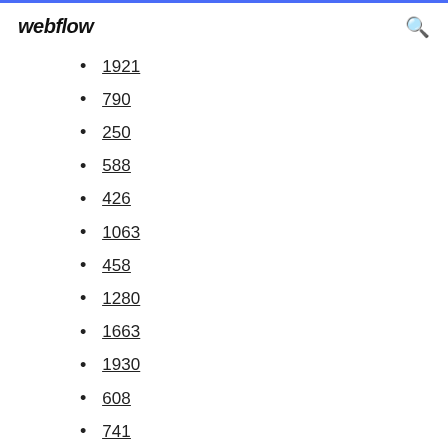webflow
1921
790
250
588
426
1063
458
1280
1663
1930
608
741
1818